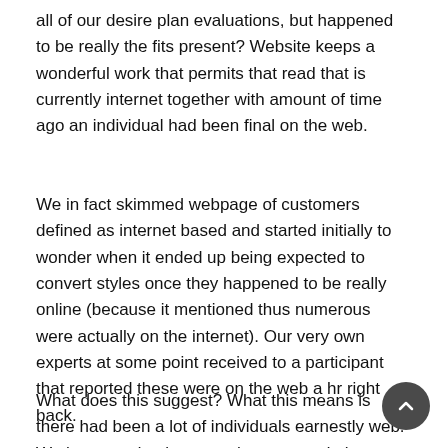all of our desire plan evaluations, but happened to be really the fits present? Website keeps a wonderful work that permits that read that is currently internet together with amount of time ago an individual had been final on the web.
We in fact skimmed webpage of customers defined as internet based and started initially to wonder when it ended up being expected to convert styles once they happened to be really online (because it mentioned thus numerous were actually on the internet). Our very own experts at some point received to a participant that reported these were on the web a hr right back.
What does this suggest? What this means is there had been a lot of individuals earnestly web. We happened to be more than amazed; the providers happened to be fact amazed. The web site had been really chalked filled